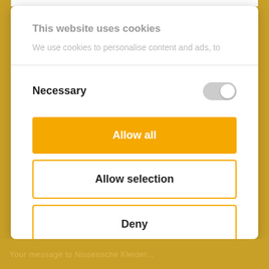This website uses cookies
We use cookies to personalise content and ads, to
Necessary
Allow all
Allow selection
Deny